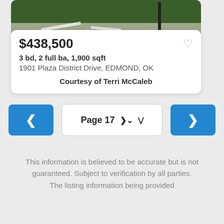[Figure (photo): Partial view of a property photo showing green grass and a driveway with white markings and a flag pole]
$438,500
3 bd, 2 full ba, 1,900 sqft
1901 Plaza District Drive, EDMOND, OK
Courtesy of Terri McCaleb
Page 17
This information is believed to be accurate but is not guaranteed. Subject to verification by all parties. The listing information being provided